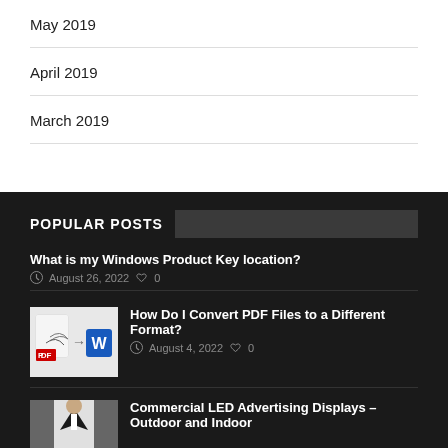May 2019
April 2019
March 2019
POPULAR POSTS
What is my Windows Product Key location?
August 26, 2022  0
[Figure (illustration): Thumbnail showing PDF and Word file icons]
How Do I Convert PDF Files to a Different Format?
August 4, 2022  0
[Figure (photo): Thumbnail showing a person in a suit]
Commercial LED Advertising Displays – Outdoor and Indoor